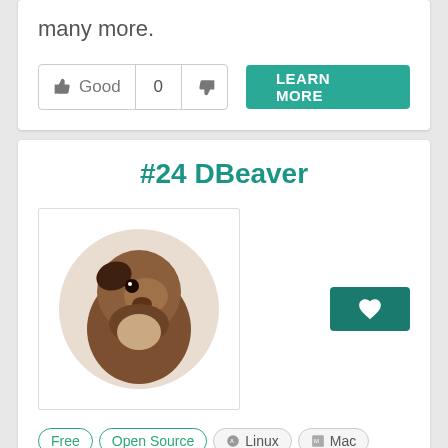many more.
[Figure (screenshot): Vote buttons: thumbs up Good | 0 | thumbs down, and a teal LEARN MORE button]
#24 DBeaver
[Figure (logo): DBeaver logo: beaver illustration in a circle, beige/brown tones]
[Figure (screenshot): Teal heart/favorite button]
Free
Open Source
Linux
Mac
Windows
Github
DBeaver is a cross-platform SQL database